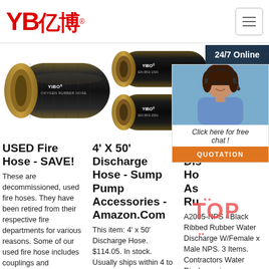YB亿博 logo and navigation hamburger menu
[Figure (photo): Black rubber hose labeled YIBO OXYGEN RUBBER HOSE]
[Figure (photo): Two black hydraulic hoses labeled YIBO EN 853 1SN and YIBO EN 853 2SN]
[Figure (photo): Dark gray ribbed hose end view with 24/7 Online banner and customer service chat agent photo with Click here for free chat and QUOTATION button]
USED Fire Hose - SAVE!
These are decommissioned, used fire hoses. They have been retired from their respective fire departments for various reasons. Some of our used fire hose includes couplings and
4' X 50' Discharge Hose - Sump Pump Accessories - Amazon.Com
This item: 4' x 50' Discharge Hose. $114.05. In stock. Usually ships within 4 to 5 days. Ships from and sold by
Wa... Dis... Ho... As... Ru...
A2005-NPS - Black Ribbed Rubber Water Discharge W/Female x Male NPS. 3 Items. Contractors Water Discharge is a